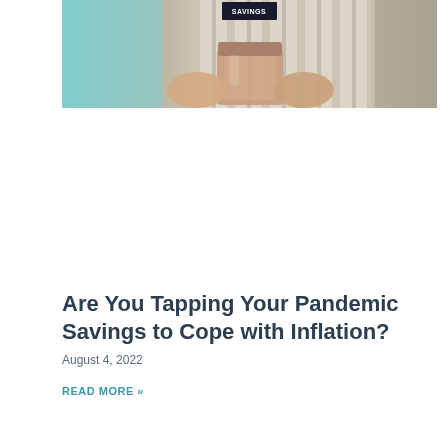[Figure (photo): A person holding a savings jar or canister, with striped background, partially cropped showing hands and the word SAVINGS on the container]
Are You Tapping Your Pandemic Savings to Cope with Inflation?
August 4, 2022
READ MORE »